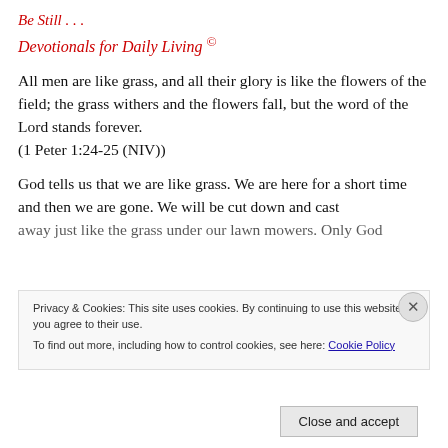Be Still . . .
Devotionals for Daily Living ©
All men are like grass, and all their glory is like the flowers of the field; the grass withers and the flowers fall, but the word of the Lord stands forever.
(1 Peter 1:24-25 (NIV))
God tells us that we are like grass. We are here for a short time and then we are gone. We will be cut down and cast away just like the grass under our lawn mowers. Only God
Privacy & Cookies: This site uses cookies. By continuing to use this website, you agree to their use.
To find out more, including how to control cookies, see here: Cookie Policy
Close and accept